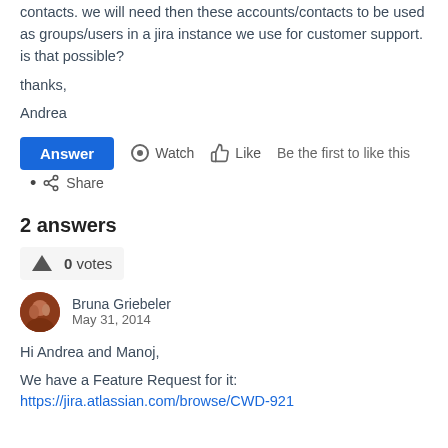contacts. we will need then these accounts/contacts to be used as groups/users in a jira instance we use for customer support. is that possible?
thanks,
Andrea
Answer  Watch  Like  Be the first to like this
• Share
2 answers
0 votes
Bruna Griebeler
May 31, 2014
Hi Andrea and Manoj,
We have a Feature Request for it:
https://jira.atlassian.com/browse/CWD-921